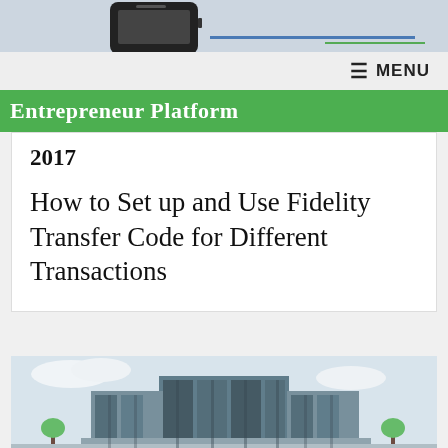[Figure (screenshot): Top banner showing a mobile phone device and colored lines on a light blue-grey background]
≡ MENU
Entrepreneur Platform
2017
How to Set up and Use Fidelity Transfer Code for Different Transactions
[Figure (photo): Photo of a large modern bank building with glass and concrete facade, multiple towers]